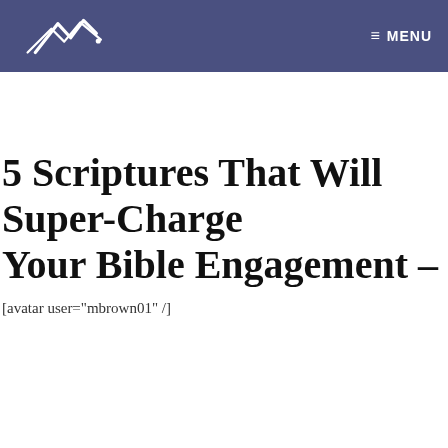MENU
5 Scriptures That Will Super-Charge Your Bible Engagement –
[avatar user="mbrown01" /]